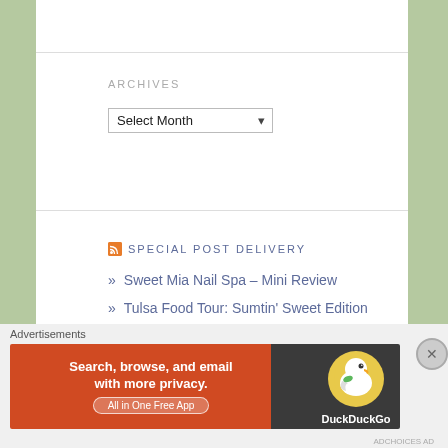ARCHIVES
Select Month
SPECIAL POST DELIVERY
» Sweet Mia Nail Spa – Mini Review
» Tulsa Food Tour: Sumtin' Sweet Edition
» Tulsa Food Tour: BBQ Edition Pt. 2
» Best Questions To Ask Before Starting a Blog
Advertisements
[Figure (screenshot): DuckDuckGo advertisement banner: 'Search, browse, and email with more privacy. All in One Free App' with DuckDuckGo duck logo on dark background]